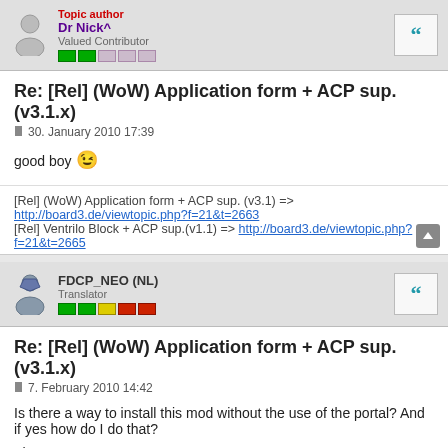Topic author Dr Nick^ Valued Contributor
Re: [Rel] (WoW) Application form + ACP sup. (v3.1.x)
30. January 2010 17:39
good boy 😉
[Rel] (WoW) Application form + ACP sup. (v3.1) => http://board3.de/viewtopic.php?f=21&t=2663
[Rel] Ventrilo Block + ACP sup.(v1.1) => http://board3.de/viewtopic.php?f=21&t=2665
FDCP_NEO (NL) Translator
Re: [Rel] (WoW) Application form + ACP sup. (v3.1.x)
7. February 2010 14:42
Is there a way to install this mod without the use of the portal? And if yes how do I do that?
Thx